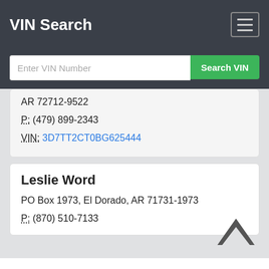VIN Search
Enter VIN Number  Search VIN
AR 72712-9522
P: (479) 899-2343
VIN: 3D7TT2CT0BG625444
Leslie Word
PO Box 1973, El Dorado, AR 71731-1973
P: (870) 510-7133